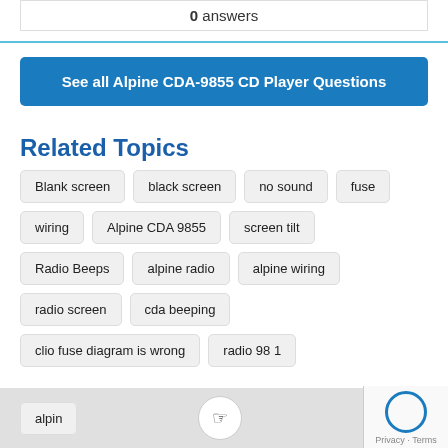0 answers
See all Alpine CDA-9855 CD Player Questions
Related Topics
Blank screen
black screen
no sound
fuse
wiring
Alpine CDA 9855
screen tilt
Radio Beeps
alpine radio
alpine wiring
radio screen
cda beeping
clio fuse diagram is wrong
radio 98 1
alpin...